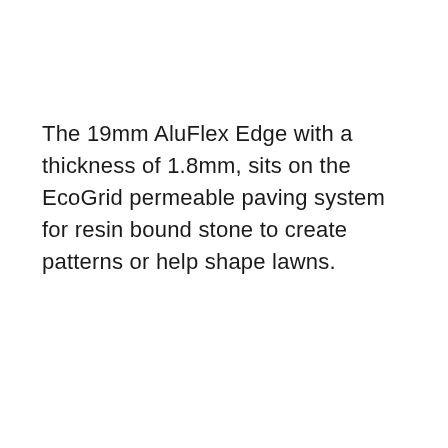The 19mm AluFlex Edge with a thickness of 1.8mm, sits on the EcoGrid permeable paving system for resin bound stone to create patterns or help shape lawns.